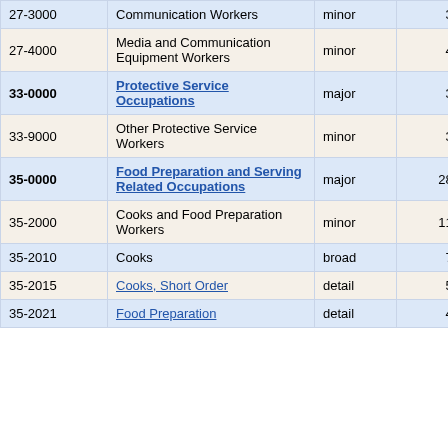| Code | Name | Level | Number | Percent |
| --- | --- | --- | --- | --- |
| 27-3000 | Communication Workers | minor | 30 | 30.6% |
| 27-4000 | Media and Communication Equipment Workers | minor | 40 | 48.9% |
| 33-0000 | Protective Service Occupations | major | 30 | 38.7% |
| 33-9000 | Other Protective Service Workers | minor | 30 | 38.7% |
| 35-0000 | Food Preparation and Serving Related Occupations | major | 280 | 10.1% |
| 35-2000 | Cooks and Food Preparation Workers | minor | 110 | 16.0% |
| 35-2010 | Cooks | broad | 70 | 22.5% |
| 35-2015 | Cooks, Short Order | detail | 50 | 20.6% |
| 35-2021 | Food Preparation... | detail | 40 | 20.8% |